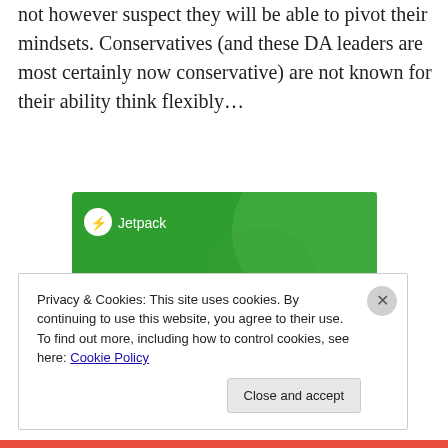not however suspect they will be able to pivot their mindsets. Conservatives (and these DA leaders are most certainly now conservative) are not known for their ability think flexibly…
[Figure (screenshot): Jetpack advertisement banner with green background, Jetpack logo with lightning bolt, and text 'The best real-time WordPress backup plugin']
Privacy & Cookies: This site uses cookies. By continuing to use this website, you agree to their use.
To find out more, including how to control cookies, see here: Cookie Policy